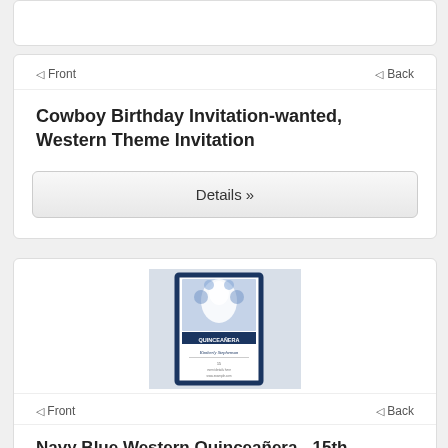[Figure (screenshot): Partial bottom of a product card (white card with rounded corners), clipped at top of page]
◁ Front    ◁ Back
Cowboy Birthday Invitation-wanted, Western Theme Invitation
Details »
[Figure (photo): Navy Blue Western Quinceañera invitation card showing a white horse with floral wreath and 'QUINCEAÑERA' text in navy blue design]
◁ Front    ◁ Back
Navy Blue Western Quinceañera - 15th Birthday Invitation
Details »